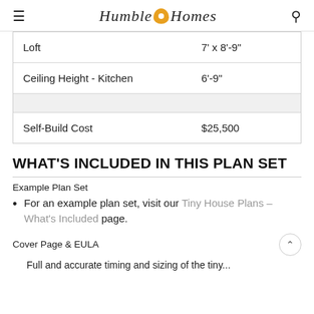Humble Homes
| Loft | 7' x 8'-9" |
| Ceiling Height - Kitchen | 6'-9" |
| Self-Build Cost | $25,500 |
WHAT'S INCLUDED IN THIS PLAN SET
Example Plan Set
For an example plan set, visit our Tiny House Plans – What's Included page.
Cover Page & EULA
Full and accurate timing and sizing of the tiny...